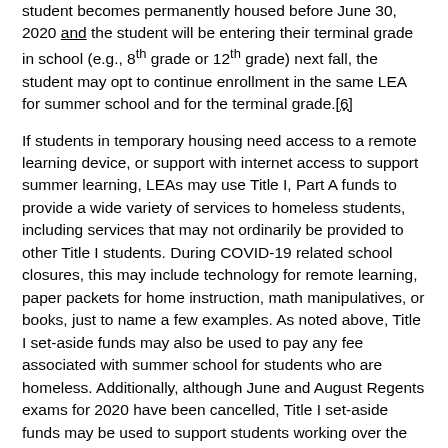student becomes permanently housed before June 30, 2020 and the student will be entering their terminal grade in school (e.g., 8th grade or 12th grade) next fall, the student may opt to continue enrollment in the same LEA for summer school and for the terminal grade.[6]
If students in temporary housing need access to a remote learning device, or support with internet access to support summer learning, LEAs may use Title I, Part A funds to provide a wide variety of services to homeless students, including services that may not ordinarily be provided to other Title I students. During COVID-19 related school closures, this may include technology for remote learning, paper packets for home instruction, math manipulatives, or books, just to name a few examples. As noted above, Title I set-aside funds may also be used to pay any fee associated with summer school for students who are homeless. Additionally, although June and August Regents exams for 2020 have been cancelled, Title I set-aside funds may be used to support students working over the summer to satisfy Regents requirements, including science lab-seat time, or additional coursework needed in order to be eligible for a Regents exemption.